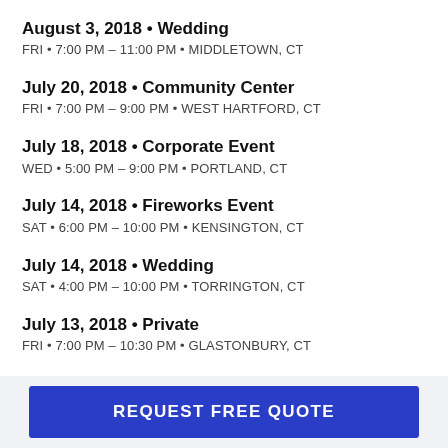August 3, 2018 • Wedding
FRI • 7:00 PM – 11:00 PM • MIDDLETOWN, CT
July 20, 2018 • Community Center
FRI • 7:00 PM – 9:00 PM • WEST HARTFORD, CT
July 18, 2018 • Corporate Event
WED • 5:00 PM – 9:00 PM • PORTLAND, CT
July 14, 2018 • Fireworks Event
SAT • 6:00 PM – 10:00 PM • KENSINGTON, CT
July 14, 2018 • Wedding
SAT • 4:00 PM – 10:00 PM • TORRINGTON, CT
July 13, 2018 • Private
FRI • 7:00 PM – 10:30 PM • GLASTONBURY, CT
REQUEST FREE QUOTE